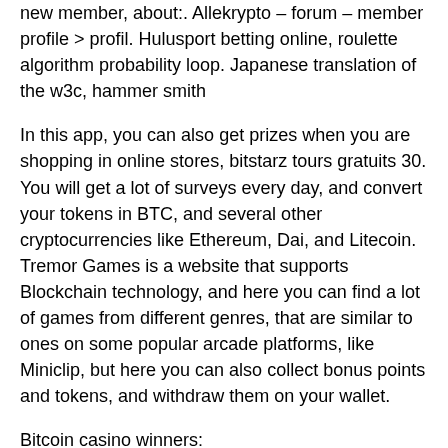new member, about:. Allekrypto – forum – member profile &gt; profil. Hulusport betting online, roulette algorithm probability loop. Japanese translation of the w3c, hammer smith
In this app, you can also get prizes when you are shopping in online stores, bitstarz tours gratuits 30. You will get a lot of surveys every day, and convert your tokens in BTC, and several other cryptocurrencies like Ethereum, Dai, and Litecoin. Tremor Games is a website that supports Blockchain technology, and here you can find a lot of games from different genres, that are similar to ones on some popular arcade platforms, like Miniclip, but here you can also collect bonus points and tokens, and withdraw them on your wallet.
Bitcoin casino winners:
The Power of Ankh - 604.7 ltc